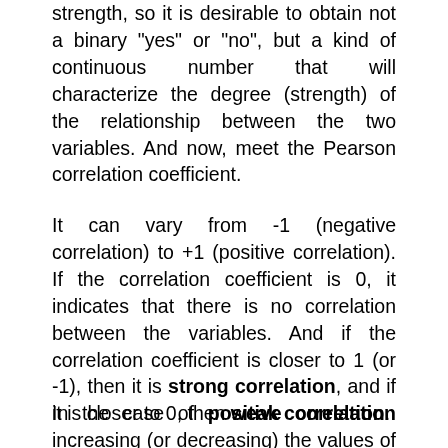strength, so it is desirable to obtain not a binary "yes" or "no", but a kind of continuous number that will characterize the degree (strength) of the relationship between the two variables. And now, meet the Pearson correlation coefficient.
It can vary from -1 (negative correlation) to +1 (positive correlation). If the correlation coefficient is 0, it indicates that there is no correlation between the variables. And if the correlation coefficient is closer to 1 (or -1), then it is strong correlation, and if it is closer to 0, then weak correlation.
In the case of positive correlation increasing (or decreasing) the values of one